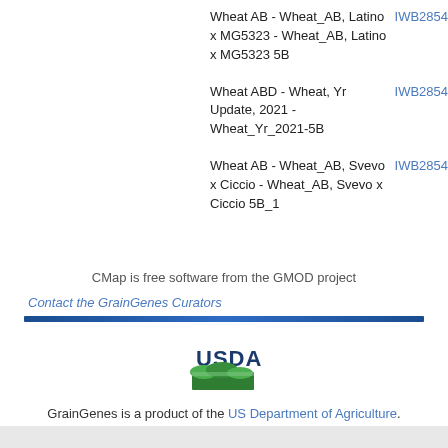Wheat AB - Wheat_AB, Latino x MG5323 - Wheat_AB, Latino x MG5323 5B
IWB2854
Wheat ABD - Wheat, Yr Update, 2021 - Wheat_Yr_2021-5B
IWB2854
Wheat AB - Wheat_AB, Svevo x Ciccio - Wheat_AB, Svevo x Ciccio 5B_1
IWB2854
CMap is free software from the GMOD project
Contact the GrainGenes Curators
[Figure (logo): USDA logo with green landscape graphic and blue USDA text]
GrainGenes is a product of the US Department of Agriculture.